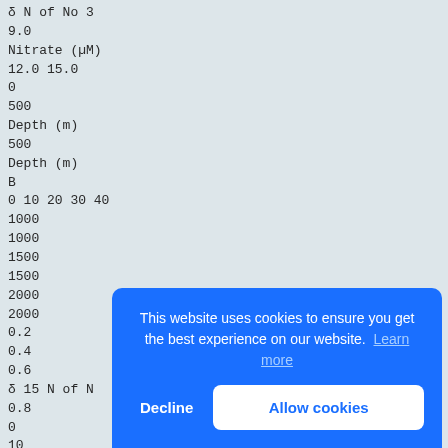δ N of No 3
9.0
Nitrate (µM)
12.0 15.0
0
500
Depth (m)
500
Depth (m)
B
0 10 20 30 40
1000
1000
1500
1500
2000
2000
0.2
0.4
0.6
δ 15 N of N
0.8
0
10
Nitr
2
MS 6
42
43
MS 6
44
B
A
This website uses cookies to ensure you get the best experience on our website. Learn more
Decline   Allow cookies